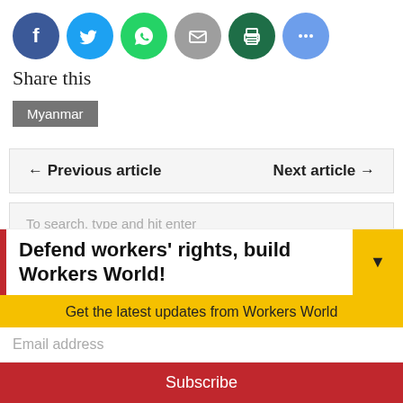[Figure (other): Row of six social sharing icon circles: Facebook (blue), Twitter (light blue), WhatsApp (green), Email (grey), Print (dark green), More/ellipsis (blue-grey)]
Share this
Myanmar
← Previous article    Next article →
To search, type and hit enter
Defend workers' rights, build Workers World!
Get the latest updates from Workers World
Email address
Subscribe